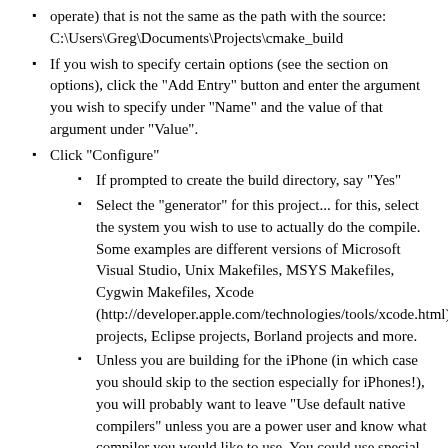operate) that is not the same as the path with the source: C:\Users\Greg\Documents\Projects\cmake_build
If you wish to specify certain options (see the section on options), click the "Add Entry" button and enter the argument you wish to specify under "Name" and the value of that argument under "Value".
Click "Configure"
If prompted to create the build directory, say "Yes"
Select the "generator" for this project... for this, select the system you wish to use to actually do the compile. Some examples are different versions of Microsoft Visual Studio, Unix Makefiles, MSYS Makefiles, Cygwin Makefiles, Xcode (http://developer.apple.com/technologies/tools/xcode.html) projects, Eclipse projects, Borland projects and more.
Unless you are building for the iPhone (in which case you should skip to the section especially for iPhones!), you will probably want to leave "Use default native compilers" unless you are a power user and know what compiler you would like to use. You could use special options here if you need to select special cross-compilers or similar.
After configure is completed, if there were errors, you will have a chance to correct them. If certain libraries were not